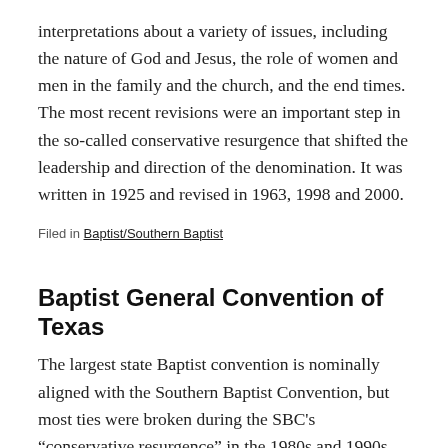interpretations about a variety of issues, including the nature of God and Jesus, the role of women and men in the family and the church, and the end times. The most recent revisions were an important step in the so-called conservative resurgence that shifted the leadership and direction of the denomination. It was written in 1925 and revised in 1963, 1998 and 2000.
Filed in Baptist/Southern Baptist
Baptist General Convention of Texas
The largest state Baptist convention is nominally aligned with the Southern Baptist Convention, but most ties were broken during the SBC's "conservative resurgence" in the 1980s and 1990s. The BGCT is often referred to as "moderate" when compared with the SBC, but compared with other American Christian denominations, it would be